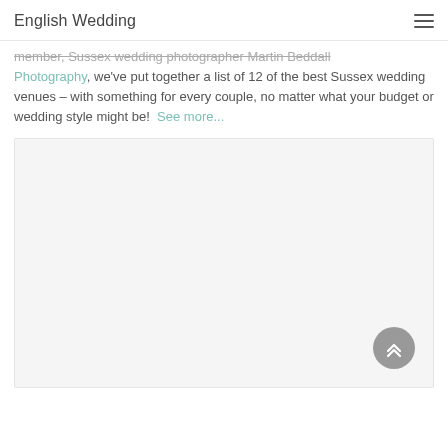English Wedding
member, Sussex wedding photographer Martin Beddall Photography, we've put together a list of 12 of the best Sussex wedding venues – with something for every couple, no matter what your budget or wedding style might be!  See more...
[Figure (photo): A large image placeholder area with a scroll-to-top button (circular grey button with double chevron up arrow) in the bottom right corner]